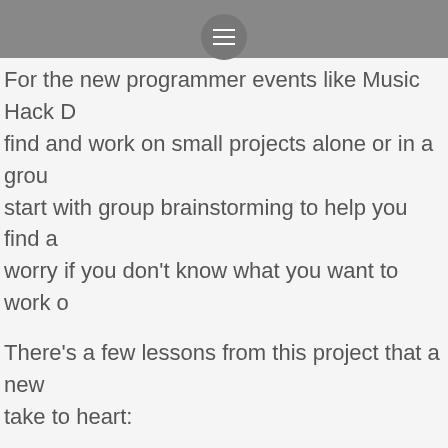☰
For the new programmer events like Music Hack D find and work on small projects alone or in a grou start with group brainstorming to help you find a worry if you don't know what you want to work o
There's a few lessons from this project that a new take to heart:
Define your problem
Perfect is the enemy of done
Small, self-contained examples are excellent tool